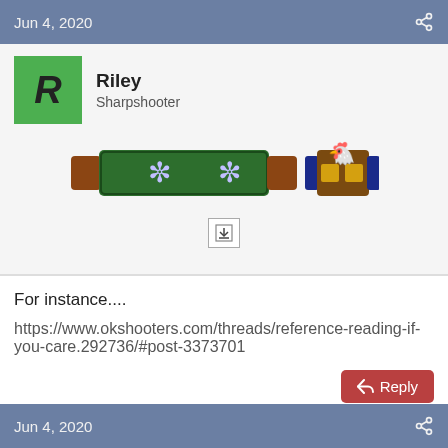Jun 4, 2020
Riley
Sharpshooter
[Figure (illustration): Forum badges/ribbons: a green ribbon with snowflake emblems, and a brown/blue ribbon with gold blocks and a chicken figure]
For instance....
https://www.okshooters.com/threads/reference-reading-if-you-care.292736/#post-3373701
Reply
dennishoddy
Jun 4, 2020